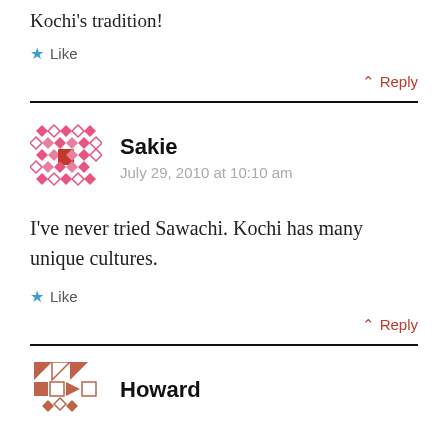Kochi's tradition!
★ Like
↑ Reply
Sakie
July 29, 2010 at 10:10 am
I've never tried Sawachi. Kochi has many unique cultures.
★ Like
↑ Reply
Howard